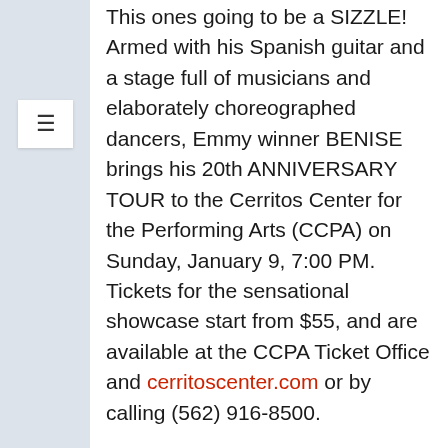This ones going to be a SIZZLE! Armed with his Spanish guitar and a stage full of musicians and elaborately choreographed dancers, Emmy winner BENISE brings his 20th ANNIVERSARY TOUR to the Cerritos Center for the Performing Arts (CCPA) on Sunday, January 9, 7:00 PM. Tickets for the sensational showcase start from $55, and are available at the CCPA Ticket Office and cerritoscenter.com or by calling (562) 916-8500.
Benise takes the audience on a romantic and magical journey celebrating two decades of fiery Spanish guitar and dance, including the Spanish Flamenco, Cuban Salsa, Brazilian Samba, Parisian Waltz, exotic drumming, and more. The tour establishes Benise's Emmy-winning show as one of the longest running global Latin-themed theatrical productions and solidifies Benise as